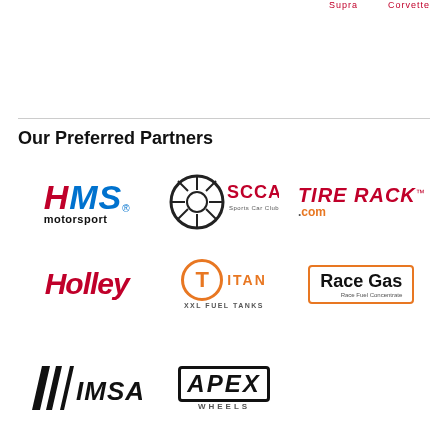Supra    Corvette
Our Preferred Partners
[Figure (logo): HMS Motorsport logo - red italic H, blue italic MS, with motorsport text below]
[Figure (logo): SCCA Sports Car Club of America logo - circular wheel emblem with SCCA text]
[Figure (logo): Tire Rack .com logo - bold red italic text with orange .com]
[Figure (logo): Holley logo - bold red italic text]
[Figure (logo): Titan XXL Fuel Tanks logo - orange circle T with TITAN text]
[Figure (logo): Race Gas logo - text in orange-bordered box]
[Figure (logo): IMSA logo - diagonal stripes with bold italic text]
[Figure (logo): Apex Wheels logo - bold italic text in outlined box]